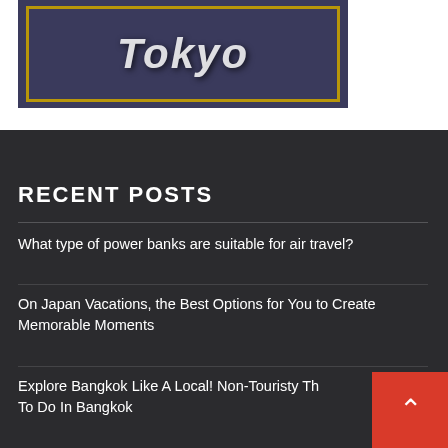[Figure (photo): Partially visible image with text/logo overlay, appears to be a travel-related blog header image with golden border frame and dark background]
RECENT POSTS
What type of power banks are suitable for air travel?
On Japan Vacations, the Best Options for You to Create Memorable Moments
Explore Bangkok Like A Local! Non-Touristy Th… To Do In Bangkok